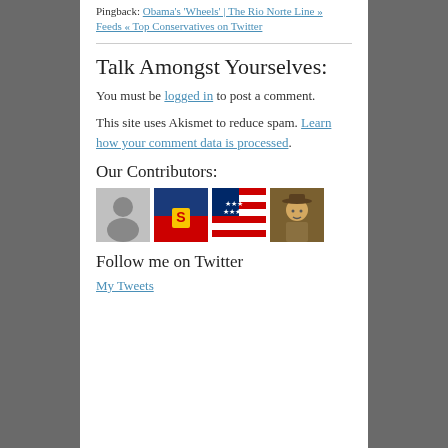Pingback: Obama's 'Wheels' | The Rio Norte Line » Feeds « Top Conservatives on Twitter
Talk Amongst Yourselves:
You must be logged in to post a comment.
This site uses Akismet to reduce spam. Learn how your comment data is processed.
Our Contributors:
[Figure (photo): Four contributor avatar images in a row]
Follow me on Twitter
My Tweets